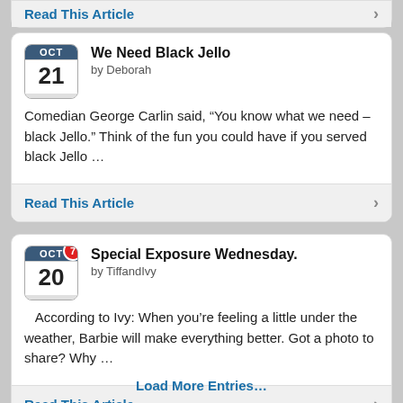Read This Article
We Need Black Jello
by Deborah
Comedian George Carlin said, “You know what we need – black Jello.” Think of the fun you could have if you served black Jello …
Read This Article
Special Exposure Wednesday.
by TiffandIvy
According to Ivy: When you’re feeling a little under the weather, Barbie will make everything better. Got a photo to share? Why …
Read This Article
Load More Entries…